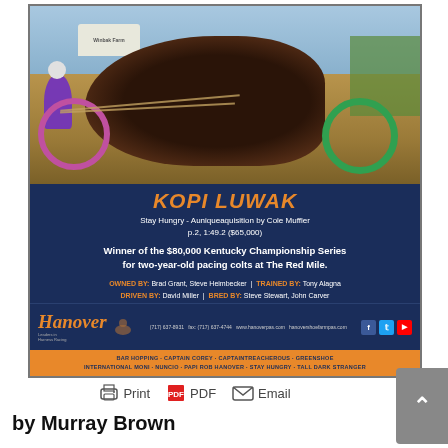[Figure (photo): Harness racing photo showing a horse with jockey in purple silks pulling a sulky at what appears to be The Red Mile racetrack. A 'Winbak Farm' sign is visible in the background. The photo is framed within a dark navy blue advertisement for Hanover Shoe Farms.]
KOPI LUWAK
Stay Hungry - Auniqueaquisition by Cole Muffler
p.2, 1:49.2 ($65,000)
Winner of the $80,000 Kentucky Championship Series for two-year-old pacing colts at The Red Mile.
OWNED BY: Brad Grant, Steve Heimbecker  |  TRAINED BY: Tony Alagna
DRIVEN BY: David Miller  |  BRED BY: Steve Stewart, John Carver
[Figure (logo): Hanover Shoe Farms logo in orange italic script with contact information and social media icons]
BAR HOPPING · CAPTAIN COREY · CAPTAINTREACHEROUS · GREENSHOE
INTERNATIONAL MONI · NUNCIO · PAPI ROB HANOVER · STAY HUNGRY · TALL DARK STRANGER
Print   PDF   Email
by Murray Brown